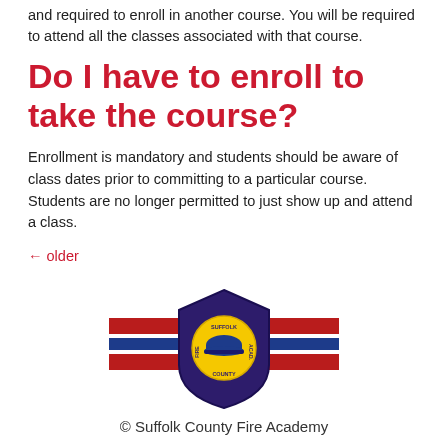and required to enroll in another course. You will be required to attend all the classes associated with that course.
Do I have to enroll to take the course?
Enrollment is mandatory and students should be aware of class dates prior to committing to a particular course. Students are no longer permitted to just show up and attend a class.
← older
[Figure (logo): Suffolk County Fire Academy shield logo with red and blue horizontal stripes]
© Suffolk County Fire Academy